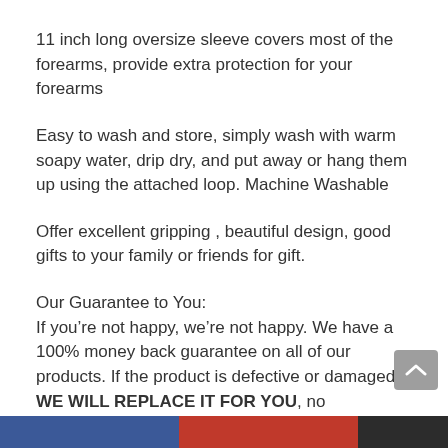11 inch long oversize sleeve covers most of the forearms, provide extra protection for your forearms
Easy to wash and store, simply wash with warm soapy water, drip dry, and put away or hang them up using the attached loop. Machine Washable
Offer excellent gripping , beautiful design, good gifts to your family or friends for gift.
Our Guarantee to You:
If you’re not happy, we’re not happy. We have a 100% money back guarantee on all of our products. If the product is defective or damaged WE WILL REPLACE IT FOR YOU, no
[Social sharing bar]